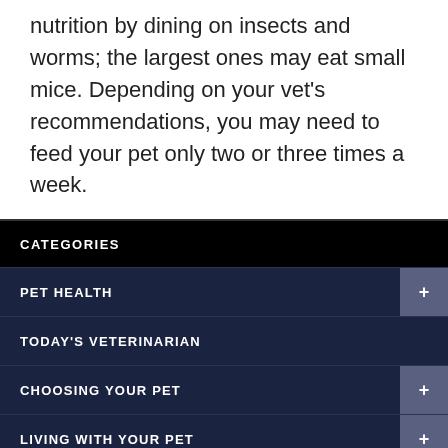nutrition by dining on insects and worms; the largest ones may eat small mice. Depending on your vet's recommendations, you may need to feed your pet only two or three times a week.
CATEGORIES
PET HEALTH +
TODAY'S VETERINARIAN
CHOOSING YOUR PET +
LIVING WITH YOUR PET +
NEWSLETTER LIBRARY +
VIDEO NEWSROOM +
CLIENT SURVEY